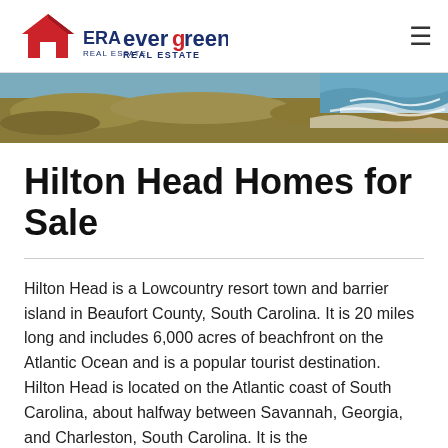[Figure (logo): ERA Evergreen Real Estate logo — red house icon with ERA text on left, 'evergreen REAL ESTATE' in navy/dark blue on right]
[Figure (photo): Aerial coastal photo banner showing rocky shoreline with ocean waves]
Hilton Head Homes for Sale
Hilton Head is a Lowcountry resort town and barrier island in Beaufort County, South Carolina. It is 20 miles long and includes 6,000 acres of beachfront on the Atlantic Ocean and is a popular tourist destination. Hilton Head is located on the Atlantic coast of South Carolina, about halfway between Savannah, Georgia, and Charleston, South Carolina. It is the